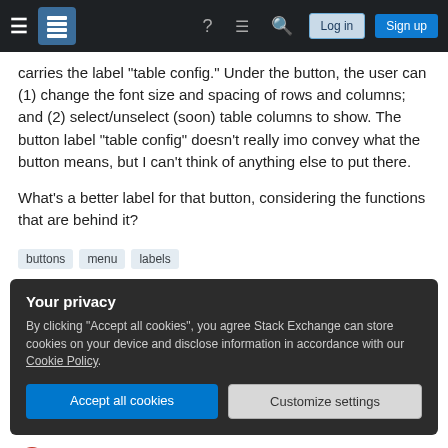Stack Exchange navigation bar with hamburger, logo, help, chat, search, Log in, Sign up
carries the label "table config." Under the button, the user can (1) change the font size and spacing of rows and columns; and (2) select/unselect (soon) table columns to show. The button label "table config" doesn't really imo convey what the button means, but I can't think of anything else to put there.
What's a better label for that button, considering the functions that are behind it?
buttons
menu
labels
Your privacy
By clicking "Accept all cookies", you agree Stack Exchange can store cookies on your device and disclose information in accordance with our Cookie Policy.
Accept all cookies | Customize settings
Pete Wilson 372